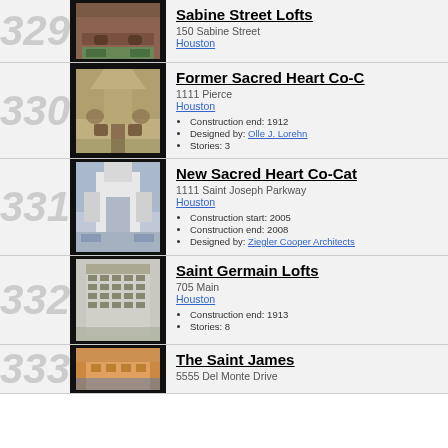329
[Figure (photo): Brick building facade - Sabine Street Lofts]
Sabine Street Lofts
150 Sabine Street
Houston
330
[Figure (photo): Gothic-style stone church - Former Sacred Heart Co-Cathedral]
Former Sacred Heart Co-Cathedral
1111 Pierce
Houston
Construction end: 1912
Designed by: Olle J. Lorehn
Stories: 3
331
[Figure (photo): Modern white building - New Sacred Heart Co-Cathedral]
New Sacred Heart Co-Cathedral
1111 Saint Joseph Parkway
Houston
Construction start: 2005
Construction end: 2008
Designed by: Ziegler Cooper Architects
332
[Figure (photo): Multi-story downtown building - Saint Germain Lofts]
Saint Germain Lofts
705 Main
Houston
Construction end: 1913
Stories: 8
333
[Figure (photo): Building exterior - The Saint James]
The Saint James
5555 Del Monte Drive